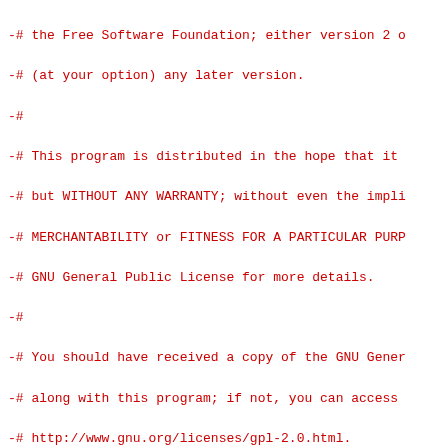Code diff showing license header changes and git diff for rcutorture configs